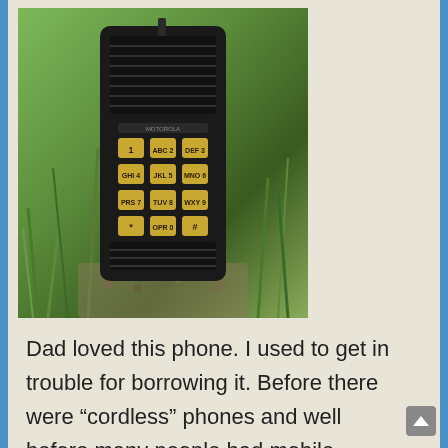[Figure (photo): An old black portable/mobile phone (walkie-talkie style) with gold/yellow keypad buttons, photographed outdoors resting on green grass and plants.]
Dad loved this phone. I used to get in trouble for borrowing it. Before there were “cordless” phones and well before many people had mobile phones, this was an early “I’m in the garden” device.!